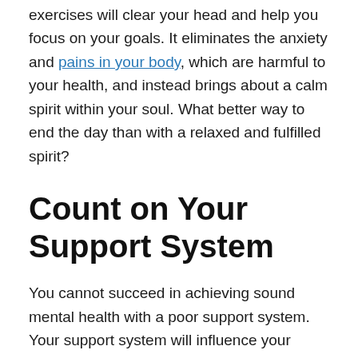exercises will clear your head and help you focus on your goals. It eliminates the anxiety and pains in your body, which are harmful to your health, and instead brings about a calm spirit within your soul. What better way to end the day than with a relaxed and fulfilled spirit?
Count on Your Support System
You cannot succeed in achieving sound mental health with a poor support system. Your support system will influence your choices, self-esteem, and beliefs, which are key in taking care of your mental health. Ensure you surround yourself with people who will inspire you and keep you engaged in productive activities, those of supportive friends and